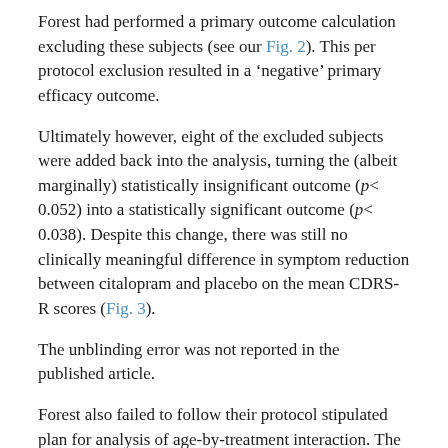Forest had performed a primary outcome calculation excluding these subjects (see our Fig. 2). This per protocol exclusion resulted in a 'negative' primary efficacy outcome.
Ultimately however, eight of the excluded subjects were added back into the analysis, turning the (albeit marginally) statistically insignificant outcome (p< 0.052) into a statistically significant outcome (p< 0.038). Despite this change, there was still no clinically meaningful difference in symptom reduction between citalopram and placebo on the mean CDRS-R scores (Fig. 3).
The unblinding error was not reported in the published article.
Forest also failed to follow their protocol stipulated plan for analysis of age-by-treatment interaction. The primary outcome variable was the change in total CDRS-R score at week 8 for the entire citalopram